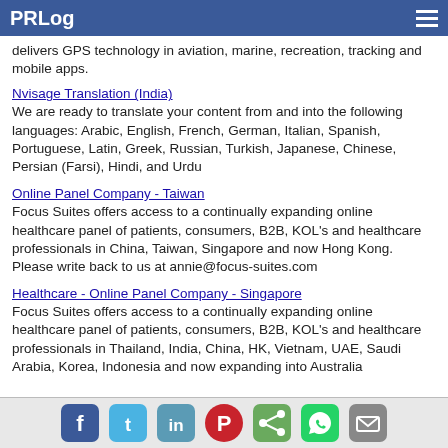PRLog
delivers GPS technology in aviation, marine, recreation, tracking and mobile apps.
Nvisage Translation (India)
We are ready to translate your content from and into the following languages: Arabic, English, French, German, Italian, Spanish, Portuguese, Latin, Greek, Russian, Turkish, Japanese, Chinese, Persian (Farsi), Hindi, and Urdu
Online Panel Company - Taiwan
Focus Suites offers access to a continually expanding online healthcare panel of patients, consumers, B2B, KOL's and healthcare professionals in China, Taiwan, Singapore and now Hong Kong. Please write back to us at annie@focus-suites.com
Healthcare - Online Panel Company - Singapore
Focus Suites offers access to a continually expanding online healthcare panel of patients, consumers, B2B, KOL's and healthcare professionals in Thailand, India, China, HK, Vietnam, UAE, Saudi Arabia, Korea, Indonesia and now expanding into Australia
Social share icons: Facebook, Twitter, LinkedIn, Pinterest, Share, WhatsApp, Email